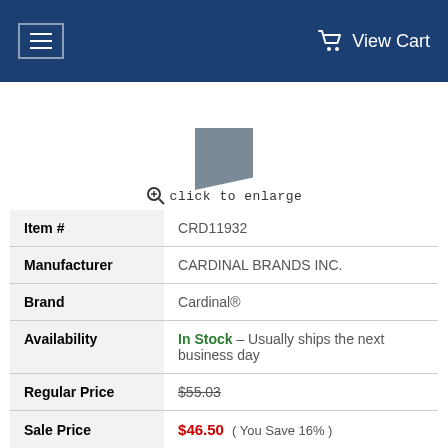View Cart
[Figure (screenshot): Partial product image thumbnail (dark gray triangular/folded shape)]
click to enlarge
| Field | Value |
| --- | --- |
| Item # | CRD11932 |
| Manufacturer | CARDINAL BRANDS INC. |
| Brand | Cardinal® |
| Availability | In Stock  -  Usually ships the next business day |
| Regular Price | $55.03 |
| Sale Price | $46.50   ( You Save 16% ) |
| Rating |  |
| Quantity | 1  [ADD TO CART] |